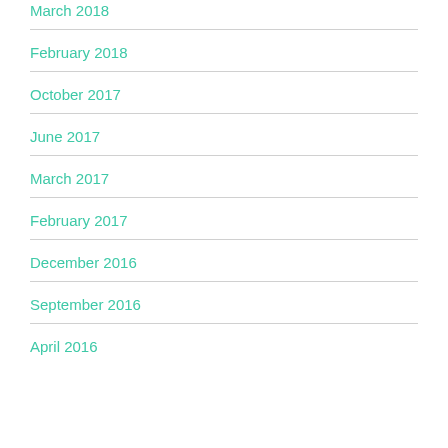March 2018
February 2018
October 2017
June 2017
March 2017
February 2017
December 2016
September 2016
April 2016